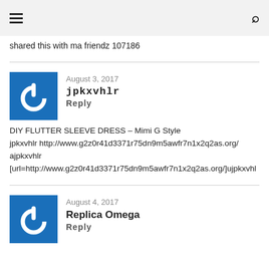≡  🔍
shared this with ma friendz 107186
August 3, 2017
jpkxvhlr
Reply
DIY FLUTTER SLEEVE DRESS – Mimi G Style
jpkxvhlr http://www.g2z0r41d3371r75dn9m5awfr7n1x2q2as.org/
ajpkxvhlr
[url=http://www.g2z0r41d3371r75dn9m5awfr7n1x2q2as.org/]ujpkxvhl
August 4, 2017
Replica Omega
Reply